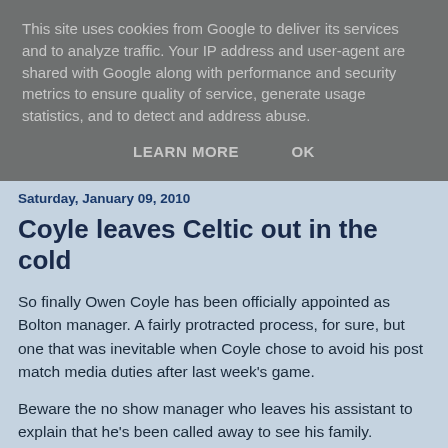This site uses cookies from Google to deliver its services and to analyze traffic. Your IP address and user-agent are shared with Google along with performance and security metrics to ensure quality of service, generate usage statistics, and to detect and address abuse.
LEARN MORE    OK
Saturday, January 09, 2010
Coyle leaves Celtic out in the cold
So finally Owen Coyle has been officially appointed as Bolton manager. A fairly protracted process, for sure, but one that was inevitable when Coyle chose to avoid his post match media duties after last week's game.
Beware the no show manager who leaves his assistant to explain that he's been called away to see his family.
Many have been perplexed by Coyle's decision. Plaudits